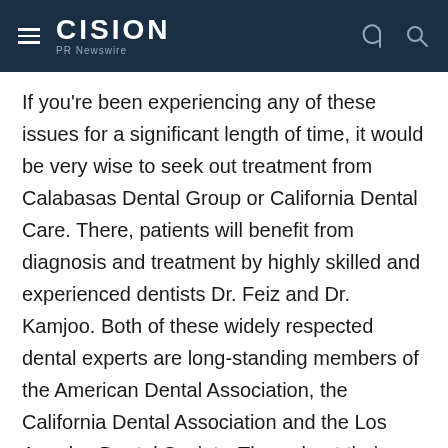CISION PR Newswire
If you're been experiencing any of these issues for a significant length of time, it would be very wise to seek out treatment from Calabasas Dental Group or California Dental Care. There, patients will benefit from diagnosis and treatment by highly skilled and experienced dentists Dr. Feiz and Dr. Kamjoo. Both of these widely respected dental experts are long-standing members of the American Dental Association, the California Dental Association and the Los Angeles Dental Society. Throughout their careers, they've earned a reputation for effective care and a warm, friendly approach.
At their dental facilities, Drs. Feiz and Kamjoo provide